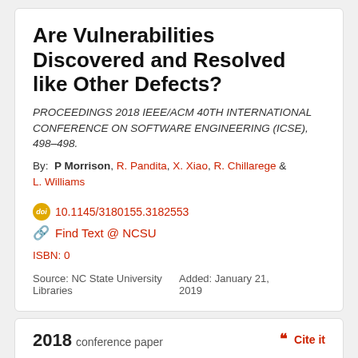Are Vulnerabilities Discovered and Resolved like Other Defects?
PROCEEDINGS 2018 IEEE/ACM 40TH INTERNATIONAL CONFERENCE ON SOFTWARE ENGINEERING (ICSE), 498–498.
By: P Morrison, R. Pandita, X. Xiao, R. Chillarege & L. Williams
10.1145/3180155.3182553
Find Text @ NCSU
ISBN: 0
Source: NC State University Libraries
Added: January 21, 2019
2018 conference paper
Cite it